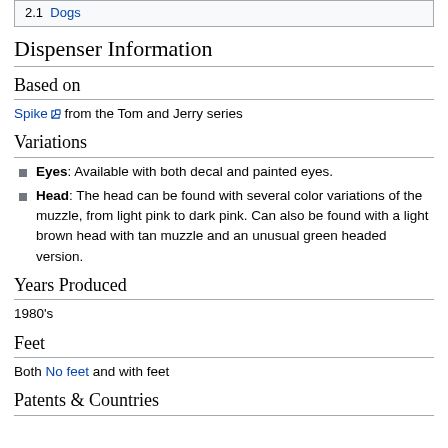2.1 Dogs
Dispenser Information
Based on
Spike [external link] from the Tom and Jerry series
Variations
Eyes: Available with both decal and painted eyes.
Head: The head can be found with several color variations of the muzzle, from light pink to dark pink. Can also be found with a light brown head with tan muzzle and an unusual green headed version.
Years Produced
1980's
Feet
Both No feet and with feet
Patents & Countries